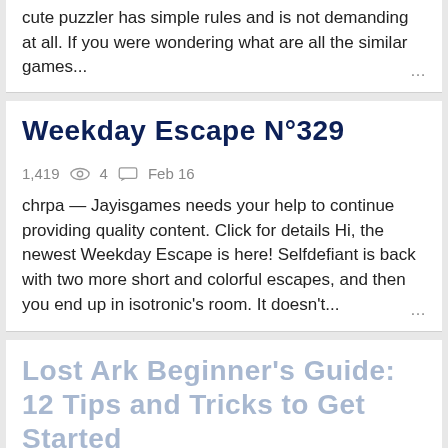cute puzzler has simple rules and is not demanding at all. If you were wondering what are all the similar games...
Weekday Escape N°329
1,419  👁  4  💬  Feb 16
chrpa — Jayisgames needs your help to continue providing quality content. Click for details Hi, the newest Weekday Escape is here! Selfdefiant is back with two more short and colorful escapes, and then you end up in isotronic's room. It doesn't...
Lost Ark Beginner's Guide: 12 Tips and Tricks to Get Started